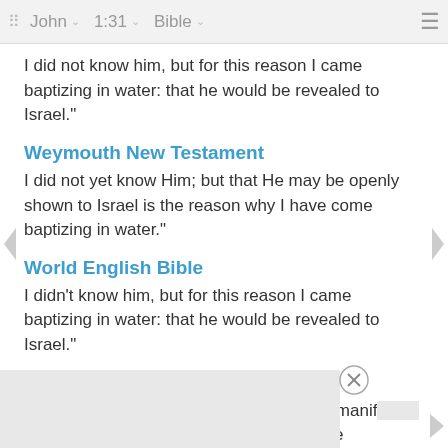John | 1:31 | Bible
I did not know him, but for this reason I came baptizing in water: that he would be revealed to Israel."
Weymouth New Testament
I did not yet know Him; but that He may be openly shown to Israel is the reason why I have come baptizing in water."
World English Bible
I didn't know him, but for this reason I came baptizing in water: that he would be revealed to Israel."
Young's Literal Translation
and I knew him not, but, that he might be manifested to Israel, because of this I came -- with the water